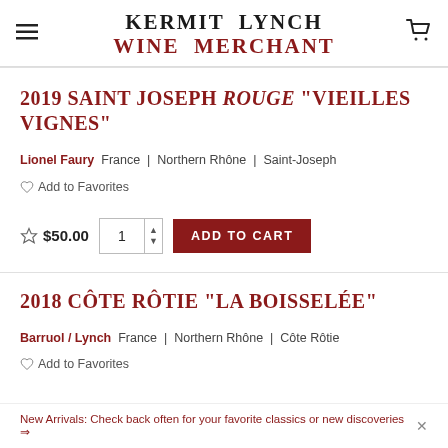KERMIT LYNCH WINE MERCHANT
2019 SAINT JOSEPH ROUGE "VIEILLES VIGNES"
Lionel Faury  France | Northern Rhône | Saint-Joseph
Add to Favorites
$50.00  ADD TO CART
2018 CÔTE RÔTIE "LA BOISSELÉE"
Barruol / Lynch  France | Northern Rhône | Côte Rôtie
Add to Favorites
New Arrivals: Check back often for your favorite classics or new discoveries →